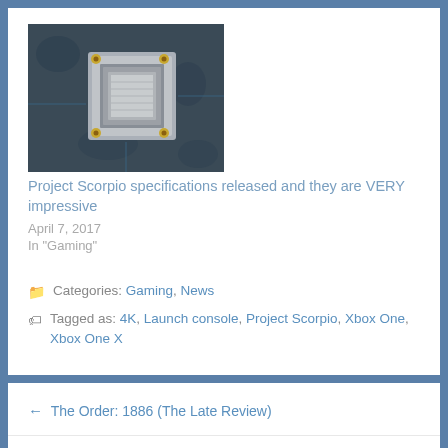[Figure (photo): Close-up photo of a computer chip/processor on a circuit board (Project Scorpio related image)]
Project Scorpio specifications released and they are VERY impressive
April 7, 2017
In "Gaming"
Categories: Gaming, News
Tagged as: 4K, Launch console, Project Scorpio, Xbox One, Xbox One X
← The Order: 1886 (The Late Review)
Revisiting old times with the Atari 8bit series of computers →